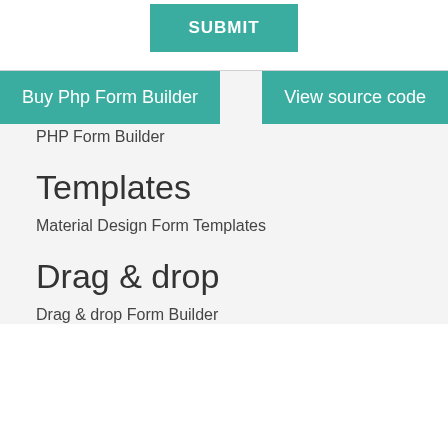[Figure (screenshot): A teal/green SUBMIT button centered at the top of the page]
[Figure (screenshot): Two teal buttons: 'Buy Php Form Builder' on the left and 'View source code' on the right, overlapping a navigation bar area]
PHP Form Builder
Templates
Material Design Form Templates
Drag & drop
Drag & drop Form Builder